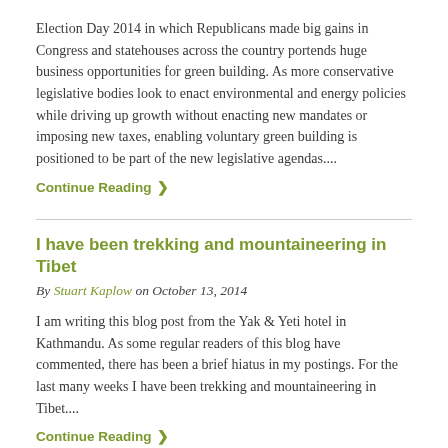Election Day 2014 in which Republicans made big gains in Congress and statehouses across the country portends huge business opportunities for green building. As more conservative legislative bodies look to enact environmental and energy policies while driving up growth without enacting new mandates or imposing new taxes, enabling voluntary green building is positioned to be part of the new legislative agendas....
Continue Reading ❯
I have been trekking and mountaineering in Tibet
By Stuart Kaplow on October 13, 2014
I am writing this blog post from the Yak & Yeti hotel in Kathmandu. As some regular readers of this blog have commented, there has been a brief hiatus in my postings. For the last many weeks I have been trekking and mountaineering in Tibet....
Continue Reading ❯